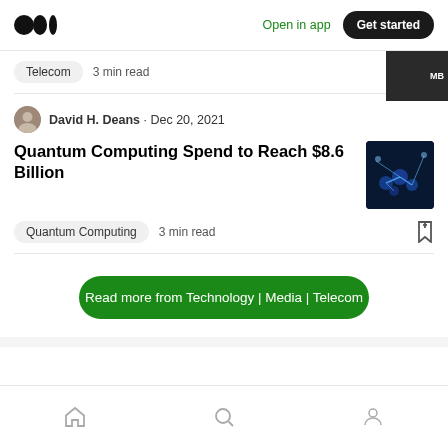Medium logo | Open in app | Get started
Telecom  3 min read
David H. Deans · Dec 20, 2021
Quantum Computing Spend to Reach $8.6 Billion
Quantum Computing  3 min read
Read more from Technology | Media | Telecom
Home | Search | Profile